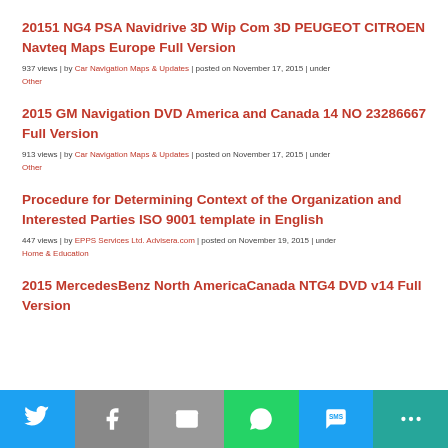20151 NG4 PSA Navidrive 3D Wip Com 3D PEUGEOT CITROEN Navteq Maps Europe Full Version
937 views | by Car Navigation Maps & Updates | posted on November 17, 2015 | under Other
2015 GM Navigation DVD America and Canada 14 NO 23286667 Full Version
913 views | by Car Navigation Maps & Updates | posted on November 17, 2015 | under Other
Procedure for Determining Context of the Organization and Interested Parties ISO 9001 template in English
447 views | by EPPS Services Ltd. Advisera.com | posted on November 19, 2015 | under Home & Education
2015 MercedesBenz North AmericaCanada NTG4 DVD v14 Full Version